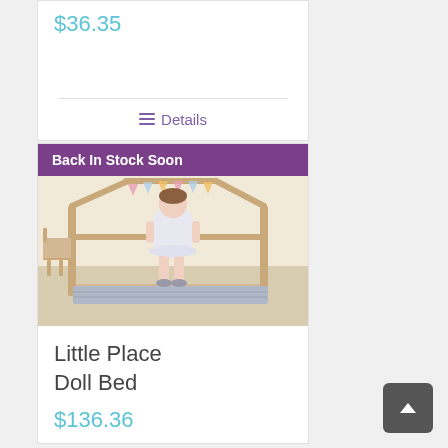$36.35
≡ Details
Back In Stock Soon
[Figure (photo): A child standing on a wooden house-frame doll bed with a blue mattress and bunting decoration]
Little Place Doll Bed
$136.36